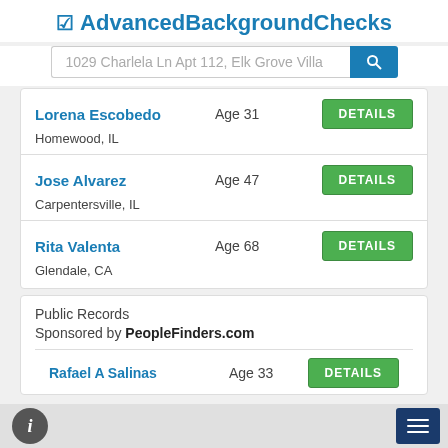AdvancedBackgroundChecks
1029 Charlela Ln Apt 112, Elk Grove Villa
Lorena Escobedo  Age 31  Homewood, IL  DETAILS
Jose Alvarez  Age 47  Carpentersville, IL  DETAILS
Rita Valenta  Age 68  Glendale, CA  DETAILS
Public Records
Sponsored by PeopleFinders.com
Rafael A Salinas  Age 33  DETAILS